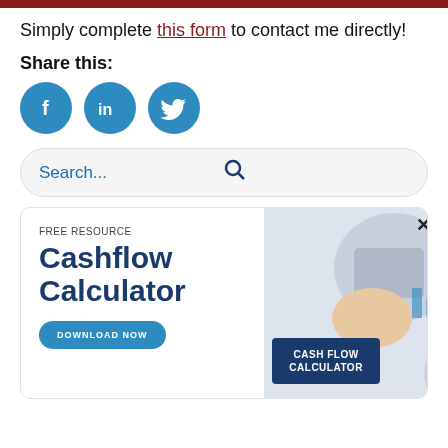Simply complete this form to contact me directly!
Share this:
[Figure (infographic): Three circular social media icons: Facebook (f), LinkedIn (in), Twitter (bird)]
Search...
[Figure (infographic): Cashflow Calculator free resource promotional banner with download button and image of person using calculator with a CASH FLOW CALCULATOR card overlay]